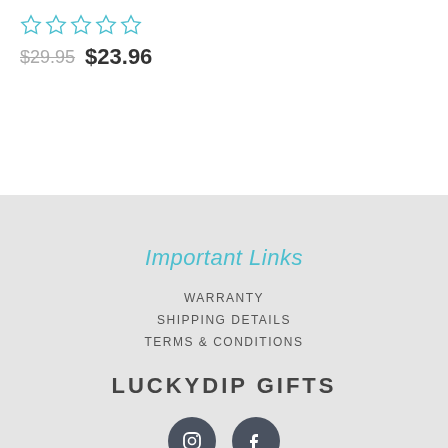[Figure (other): Five empty star rating icons in cyan/teal outline]
$29.95 $23.96
Important Links
WARRANTY
SHIPPING DETAILS
TERMS & CONDITIONS
LUCKYDIP GIFTS
[Figure (other): Instagram and Facebook social media icon circles in dark slate color]